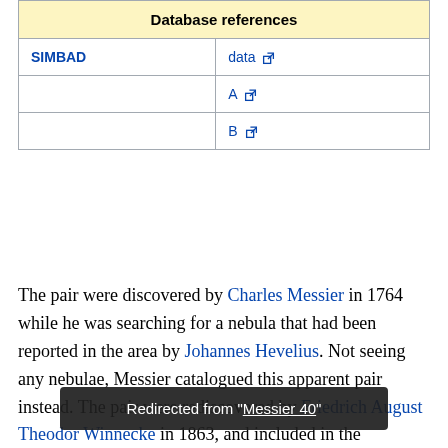| Database references |  |
| --- | --- |
| SIMBAD | data ↗ |
|  | A ↗ |
|  | B ↗ |
The pair were discovered by Charles Messier in 1764 while he was searching for a nebula that had been reported in the area by Johannes Hevelius. Not seeing any nebulae, Messier catalogued this apparent pair instead. The pair were rediscovered by Friedrich August Theodor Winnecke in 1863, and included in the Winnecke Catalogue of Double Stars as number 4. Burnham calls M40 "one of the few real mistakes in the Messier catalog," faulting Messier for cataloguing what was clearly a double star, not a nebula of any sort.
Redirected from "Messier 40"